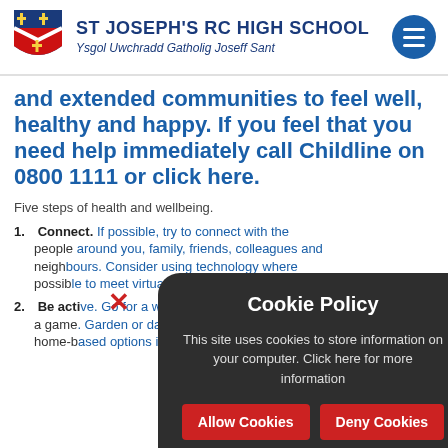ST JOSEPH'S RC HIGH SCHOOL - Ysgol Uwchradd Gatholig Joseff Sant
and extended communities to feel well, healthy and happy. If you feel that you need help immediately call Childline on 0800 1111 or click here.
Five steps of health and wellbeing.
Connect. If possible, try to connect with the people around you, family, friends, colleagues and neighbours. Consider using technology where possible to meet virtually.
Be active. Go for a walk or run, cycle, play a game, garden or dance. But also consider home-based options including...
Cookie Policy - This site uses cookies to store information on your computer. Click here for more information
Allow Cookies | Deny Cookies